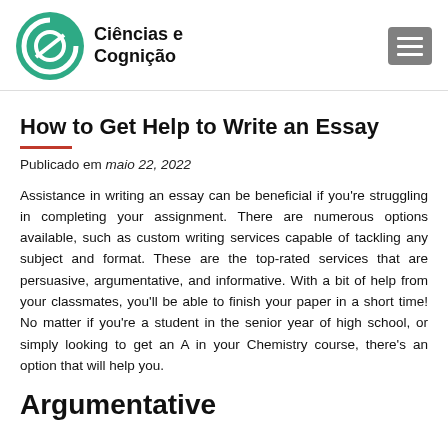Ciências e Cognição
How to Get Help to Write an Essay
Publicado em maio 22, 2022
Assistance in writing an essay can be beneficial if you're struggling in completing your assignment. There are numerous options available, such as custom writing services capable of tackling any subject and format. These are the top-rated services that are persuasive, argumentative, and informative. With a bit of help from your classmates, you'll be able to finish your paper in a short time! No matter if you're a student in the senior year of high school, or simply looking to get an A in your Chemistry course, there's an option that will help you.
Argumentative